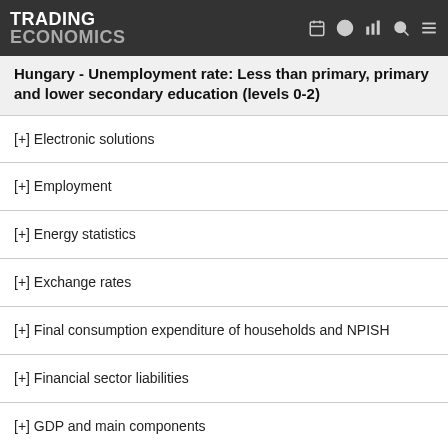TRADING ECONOMICS
Hungary - Unemployment rate: Less than primary, primary and lower secondary education (levels 0-2)
[+] Electronic solutions
[+] Employment
[+] Energy statistics
[+] Exchange rates
[+] Final consumption expenditure of households and NPISH
[+] Financial sector liabilities
[+] GDP and main components
[+] Health